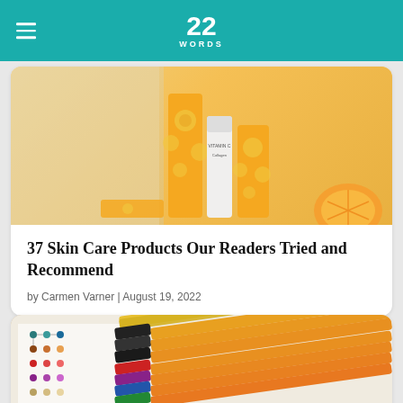22 WORDS
[Figure (photo): Skincare products with orange/citrus packaging on tiled background with orange slice]
37 Skin Care Products Our Readers Tried and Recommend
by Carmen Varner | August 19, 2022
[Figure (photo): Colorful fine-tip pens/markers arranged diagonally on white paper with color swatch chart]